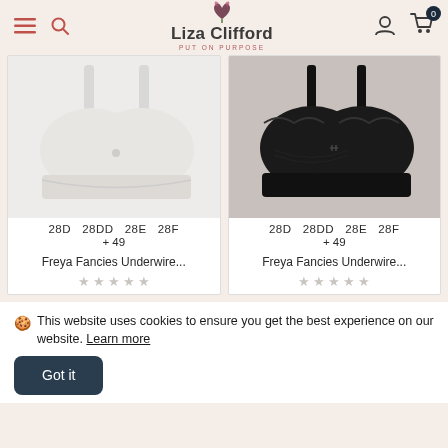Liza Clifford — PUT ON PURPOSE
[Figure (photo): White lace underwire bra on light background]
28D  28DD  28E  28F
+ 49
Freya Fancies Underwire...
[Figure (photo): Black lace underwire bra on gray background]
28D  28DD  28E  28F
+ 49
Freya Fancies Underwire...
🍪 This website uses cookies to ensure you get the best experience on our website. Learn more
Got it